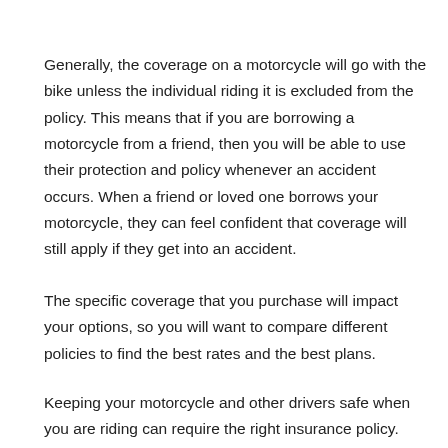Generally, the coverage on a motorcycle will go with the bike unless the individual riding it is excluded from the policy. This means that if you are borrowing a motorcycle from a friend, then you will be able to use their protection and policy whenever an accident occurs. When a friend or loved one borrows your motorcycle, they can feel confident that coverage will still apply if they get into an accident.
The specific coverage that you purchase will impact your options, so you will want to compare different policies to find the best rates and the best plans.
Keeping your motorcycle and other drivers safe when you are riding can require the right insurance policy. The